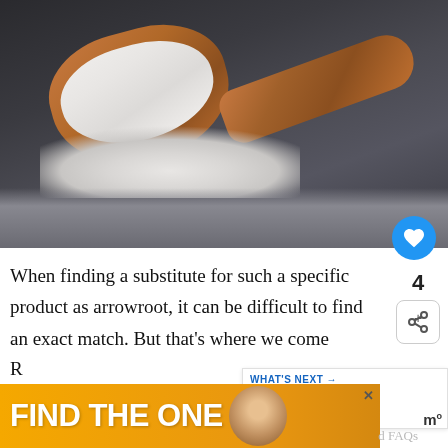[Figure (photo): A wooden spoon overflowing with white powder (arrowroot starch) on a dark surface, with powder scattered around it.]
When finding a substitute for such a specific product as arrowroot, it can be difficult to find an exact match. But that’s where we come
[Figure (other): WHAT'S NEXT arrow label with thumbnail image and text: Best Substitute F...]
R...
[Figure (other): Advertisement banner: FIND THE ONE with a dog image and a close button. MW logo and FAQs text visible.]